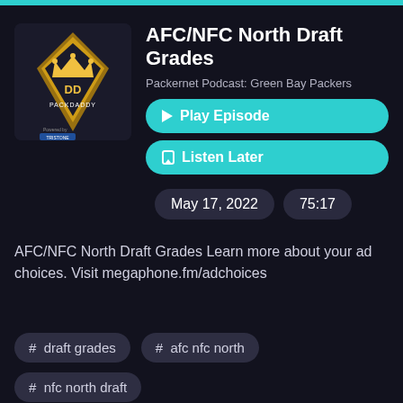[Figure (logo): PackDaddy podcast logo with gold crown and shield on dark background]
AFC/NFC North Draft Grades
Packernet Podcast: Green Bay Packers
▶ Play Episode
◻ Listen Later
May 17, 2022
75:17
AFC/NFC North Draft Grades Learn more about your ad choices. Visit megaphone.fm/adchoices
# draft grades
# afc nfc north
# nfc north draft